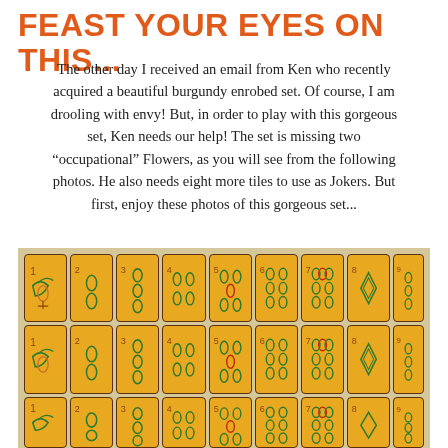FEAST YOUR EYES ON THIS...
The other day I received an email from Ken who recently acquired a beautiful burgundy enrobed set. Of course, I am drooling with envy! But, in order to play with this gorgeous set, Ken needs our help! The set is missing two “occupational” Flowers, as you will see from the following photos. He also needs eight more tiles to use as Jokers. But first, enjoy these photos of this gorgeous set...
[Figure (photo): Photograph of a mahjong tile set with yellow/amber colored tiles arranged in rows on a tan background. Tiles show bamboo suit numbers 1-9 with bamboo pip markings, plus special tiles. Three rows of tiles are visible.]